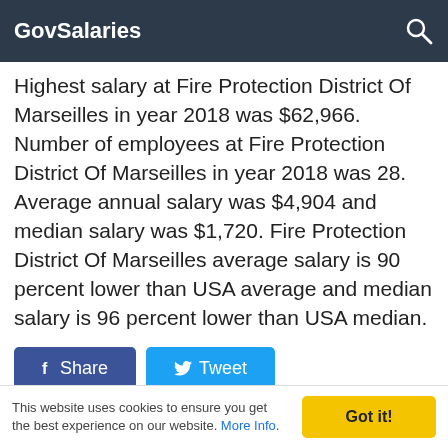GovSalaries
Highest salary at Fire Protection District Of Marseilles in year 2018 was $62,966. Number of employees at Fire Protection District Of Marseilles in year 2018 was 28. Average annual salary was $4,904 and median salary was $1,720. Fire Protection District Of Marseilles average salary is 90 percent lower than USA average and median salary is 96 percent lower than USA median.
Share   Tweet
This website uses cookies to ensure you get the best experience on our website. More Info.   Got it!